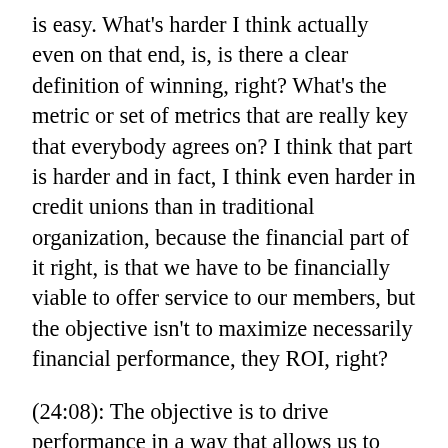is easy. What's harder I think actually even on that end, is, is there a clear definition of winning, right? What's the metric or set of metrics that are really key that everybody agrees on? I think that part is harder and in fact, I think even harder in credit unions than in traditional organization, because the financial part of it right, is that we have to be financially viable to offer service to our members, but the objective isn't to maximize necessarily financial performance, they ROI, right?
(24:08): The objective is to drive performance in a way that allows us to build our capital base, which then allows us to offer great services, products, and so on to our members. So to